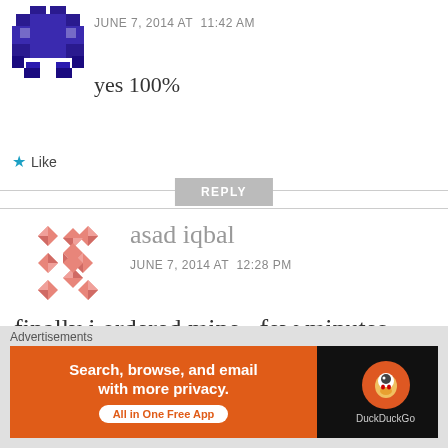[Figure (illustration): Purple pixel-art avatar icon]
JUNE 7, 2014 AT  11:42 AM
yes 100%
★  Like
REPLY
[Figure (illustration): Pink geometric flower/star pattern avatar]
asad iqbal
JUNE 7, 2014 AT  12:28 PM
finally i ordered mine , few minutes before
[Figure (illustration): Close/dismiss X circle button]
Advertisements
[Figure (infographic): DuckDuckGo advertisement banner: Search, browse, and email with more privacy. All in One Free App.]